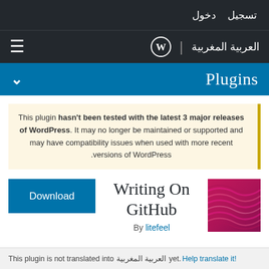تسجيل  دخول
العربية المغربية | WordPress logo
Plugins
This plugin hasn't been tested with the latest 3 major releases of WordPress. It may no longer be maintained or supported and may have compatibility issues when used with more recent versions of WordPress.
Writing On GitHub
By litefeel
[Figure (photo): Pink/mauve wavy abstract texture thumbnail image]
This plugin is not translated into العربية المغربية yet. Help translate it!